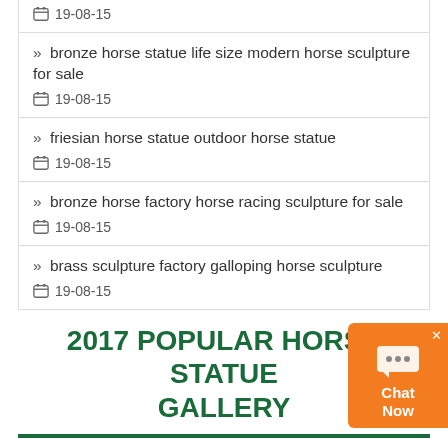19-08-15
» bronze horse statue life size modern horse sculpture for sale
19-08-15
» friesian horse statue outdoor horse statue
19-08-15
» bronze horse factory horse racing sculpture for sale
19-08-15
» brass sculpture factory galloping horse sculpture
19-08-15
2017 POPULAR HORSE STATUE GALLERY
friesian horse statue keeping horse statue at